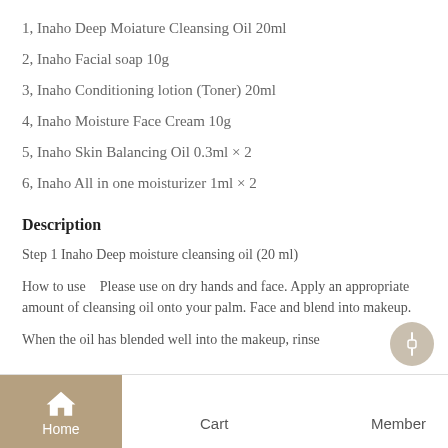1, Inaho Deep Moiature Cleansing Oil 20ml
2, Inaho Facial soap 10g
3, Inaho Conditioning lotion (Toner) 20ml
4, Inaho Moisture Face Cream 10g
5, Inaho Skin Balancing Oil 0.3ml × 2
6, Inaho All in one moisturizer 1ml × 2
Description
Step 1 Inaho Deep moisture cleansing oil (20 ml)
How to use　Please use on dry hands and face. Apply an appropriate amount of cleansing oil onto your palm. Face and blend into makeup.
When the oil has blended well into the makeup, rinse
Home   Cart   Member